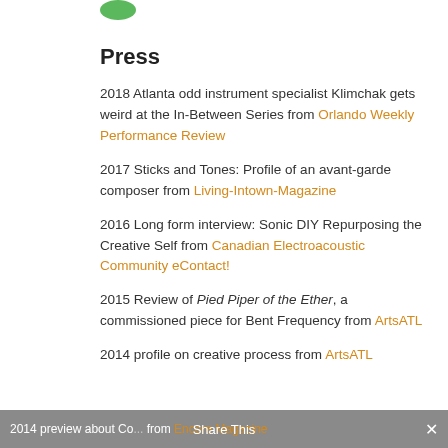[Figure (logo): Green circular logo partially visible at top]
Press
2018 Atlanta odd instrument specialist Klimchak gets weird at the In-Between Series from Orlando Weekly Performance Review
2017 Sticks and Tones: Profile of an avant-garde composer from Living-Intown-Magazine
2016 Long form interview: Sonic DIY Repurposing the Creative Self from Canadian Electroacoustic Community eContact!
2015 Review of Pied Piper of the Ether, a commissioned piece for Bent Frequency from ArtsATL
2014 profile on creative process from ArtsATL
2014 preview about Co... from Encore Magazine | Share This | ×